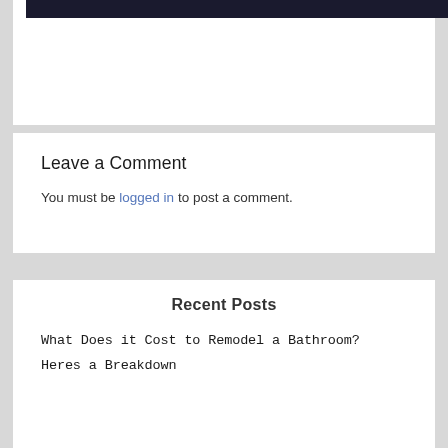[Figure (photo): Dark/black image banner at the top of the page]
Leave a Comment
You must be logged in to post a comment.
Recent Posts
What Does it Cost to Remodel a Bathroom?
Heres a Breakdown